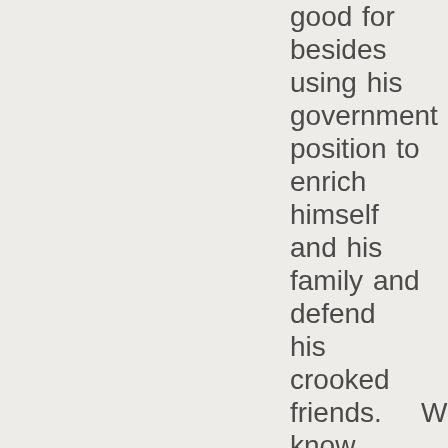good for besides using his government position to enrich himself and his family and defend his crooked friends.    We know what Trump is hiding from and so do you.   He acts like a guilty man because he is guilty of criminal financial operations.   He needs to be called